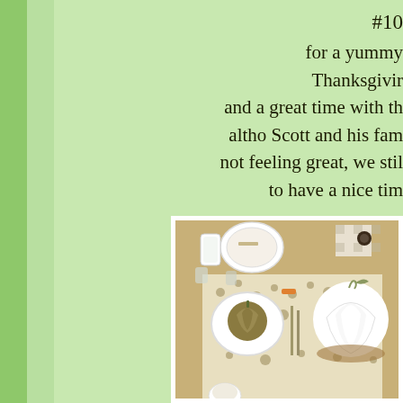#10
for a yummy Thanksgiving
and a great time with the
altho Scott and his family
not feeling great, we still
to have a nice time
[Figure (photo): Overhead view of a Thanksgiving table setting with decorative floral tablecloth runner, white plates, glasses, a tan/olive fabric pumpkin, a white ceramic pumpkin, and various table accessories on a beige/tan table surface.]